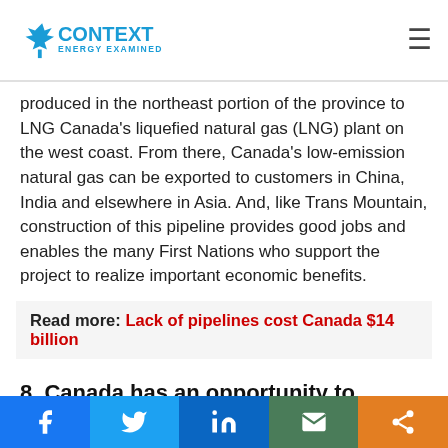Context Energy Examined
produced in the northeast portion of the province to LNG Canada's liquefied natural gas (LNG) plant on the west coast. From there, Canada's low-emission natural gas can be exported to customers in China, India and elsewhere in Asia. And, like Trans Mountain, construction of this pipeline provides good jobs and enables the many First Nations who support the project to realize important economic benefits.
Read more: Lack of pipelines cost Canada $14 billion
8. Canada has an opportunity to export the best LNG in the world, which would help lower global emissions.